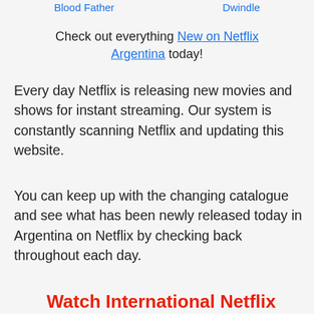Blood Father   Dwindle
Check out everything New on Netflix Argentina today!
Every day Netflix is releasing new movies and shows for instant streaming. Our system is constantly scanning Netflix and updating this website.
You can keep up with the changing catalogue and see what has been newly released today in Argentina on Netflix by checking back throughout each day.
Watch International Netflix